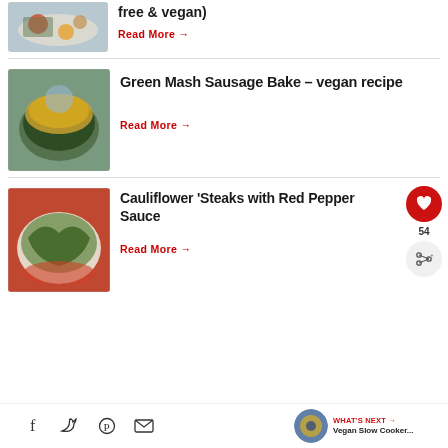[Figure (photo): Partial food photo top left - vegetables on a plate]
free & vegan)
Read More →
[Figure (photo): Green mash sausage bake dish in a brown ceramic bowl with golden cheesy topping]
Green Mash Sausage Bake - vegan recipe
Read More →
[Figure (photo): Cauliflower steaks with red pepper sauce on a plate with green zucchini strips]
Cauliflower 'Steaks with Red Pepper Sauce
Read More →
WHAT'S NEXT → Vegan Slow Cooker...
54